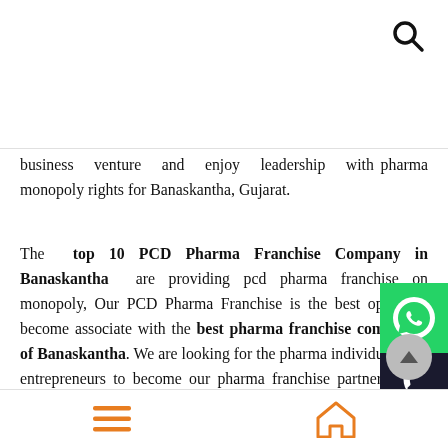[Figure (other): Search magnifying glass icon in top right]
business venture and enjoy leadership with pharma monopoly rights for Banaskantha, Gujarat.
The top 10 PCD Pharma Franchise Company in Banaskantha are providing pcd pharma franchise on monopoly, Our PCD Pharma Franchise is the best option to become associate with the best pharma franchise companies of Banaskantha. We are looking for the pharma individuals and entrepreneurs to become our pharma franchise partner in the pharmaceutical sector. Our PCD Pharma Franchise is the good business opportunity for everyone to be the part of the best pharma franchise companies of Banaskantha.
[Figure (other): WhatsApp green button on right side]
[Figure (other): Phone call dark button on right side]
[Figure (other): Scroll to top circular button]
[Figure (other): Bottom navigation bar with hamburger menu and home icon]